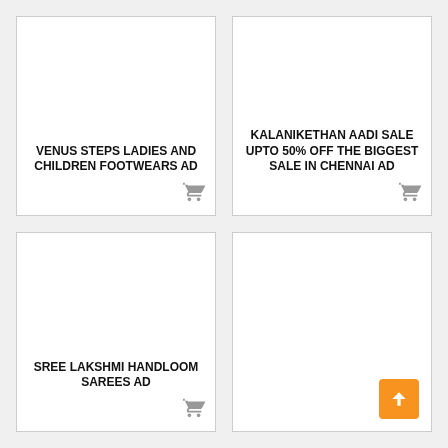VENUS STEPS LADIES AND CHILDREN FOOTWEARS AD
KALANIKETHAN AADI SALE UPTO 50% OFF THE BIGGEST SALE IN CHENNAI AD
SREE LAKSHMI HANDLOOM SAREES AD
[Figure (other): Empty fourth card with no text or image content]